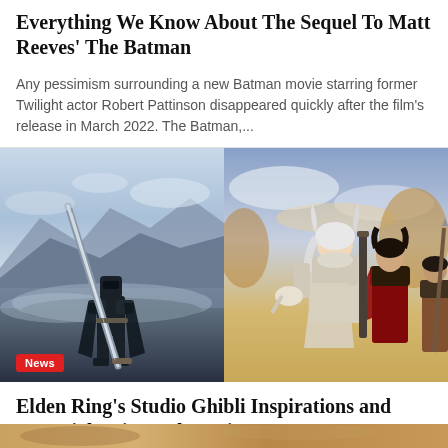Everything We Know About The Sequel To Matt Reeves' The Batman
Any pessimism surrounding a new Batman movie starring former Twilight actor Robert Pattinson disappeared quickly after the film's release in March 2022. The Batman,...
[Figure (photo): Left: An armored figure holding a massive sword in a misty fantasy landscape (Elden Ring). Right: Anime-style illustration of fantasy characters including a silver-haired figure and two others with swords (Berserk/Griffith style).]
News
Elden Ring's Studio Ghibli Inspirations and Potential Anime Adaptation
Elden Ring might just go on to be named the game of the year by critics and gamers, despite it only being released on...
[Figure (photo): Bottom strip of another article image, partially visible.]